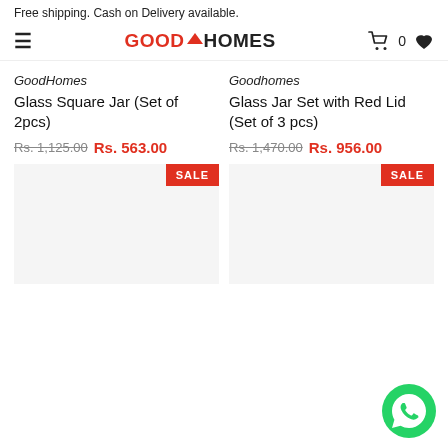Free shipping. Cash on Delivery available.
[Figure (logo): GoodHomes logo with red roof icon, hamburger menu, cart icon with 0 count, and heart icon]
GoodHomes
Glass Square Jar (Set of 2pcs)
Rs. 1,125.00 Rs. 563.00
Goodhomes
Glass Jar Set with Red Lid (Set of 3 pcs)
Rs. 1,470.00 Rs. 956.00
[Figure (other): Two product image placeholders each with a red SALE badge in the top right corner]
[Figure (other): WhatsApp button green circle with phone icon, bottom right corner]